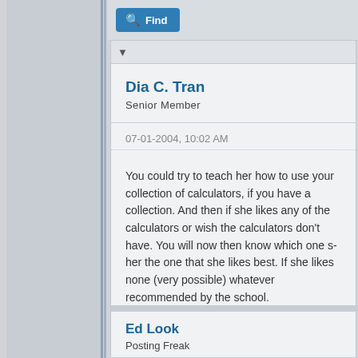[Figure (screenshot): Blue Find button with magnifying glass icon at top of page]
▼
Dia C. Tran
Senior Member
07-01-2004, 10:02 AM
You could try to teach her how to use your collection of calculators, if you have a collection. And then if she likes any of the calculators or wishes for features the calculators don't have. You will now then know which one she likes. And buy her the one that she likes best. If she likes none (very possible), then just get whatever recommended by the school.
[Figure (screenshot): Blue Find button with magnifying glass icon at bottom of post]
Ed Look
Posting Freak